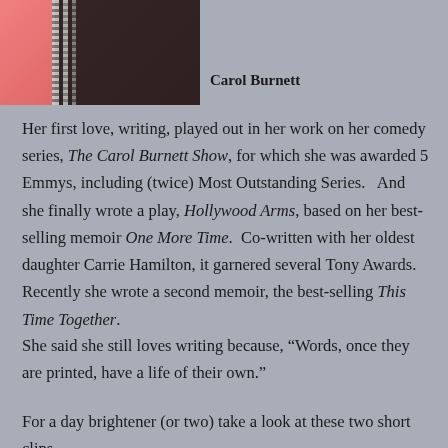[Figure (photo): Partial photo of Carol Burnett showing pink/coral background with black outfit and beaded necklace]
Carol Burnett
Her first love, writing, played out in her work on her comedy series, The Carol Burnett Show, for which she was awarded 5 Emmys, including (twice) Most Outstanding Series.   And she finally wrote a play, Hollywood Arms, based on her best-selling memoir One More Time.  Co-written with her oldest daughter Carrie Hamilton, it garnered several Tony Awards.   Recently she wrote a second memoir, the best-selling This Time Together.
She said she still loves writing because, “Words, once they are printed, have a life of their own.”
For a day brightener (or two) take a look at these two short clips